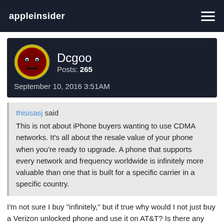appleinsider
Dcgoo
Posts: 265
September 10, 2016 3:51AM
thisisasj said
This is not about iPhone buyers wanting to use CDMA networks. It's all about the resale value of your phone when you're ready to upgrade. A phone that supports every network and frequency worldwide is infinitely more valuable than one that is built for a specific carrier in a specific country.
I'm not sure I buy "infinitely," but if true why would I not just buy a Verizon unlocked phone and use it on AT&T?  Is there any downside? I already have accounts with both carriers.  I have two iPhones on AT&T, and four data only devices on Verizon.  While unlikely, it is conceivable  I might want to